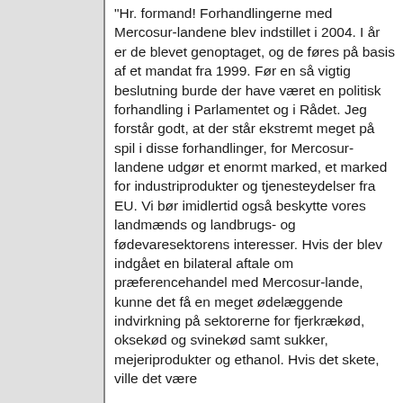"Hr. formand! Forhandlingerne med Mercosur-landene blev indstillet i 2004. I år er de blevet genoptaget, og de føres på basis af et mandat fra 1999. Før en så vigtig beslutning burde der have været en politisk forhandling i Parlamentet og i Rådet. Jeg forstår godt, at der står ekstremt meget på spil i disse forhandlinger, for Mercosur-landene udgør et enormt marked, et marked for industriprodukter og tjenesteydelser fra EU. Vi bør imidlertid også beskytte vores landmænds og landbrugs- og fødevaresektorens interesser. Hvis der blev indgået en bilateral aftale om præferencehandel med Mercosur-lande, kunne det få en meget ødelæggende indvirkning på sektorerne for fjerkrækød, oksekød og svinekød samt sukker, mejeriprodukter og ethanol. Hvis det skete, ville det være...